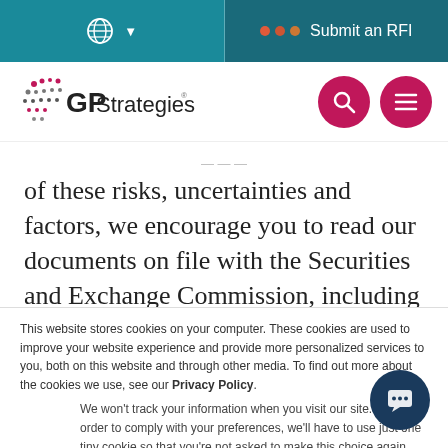GP Strategies website header with globe/language selector, Submit an RFI button, GP Strategies logo, search and menu buttons
of these risks, uncertainties and factors, we encourage you to read our documents on file with the Securities and Exchange Commission, including those
This website stores cookies on your computer. These cookies are used to improve your website experience and provide more personalized services to you, both on this website and through other media. To find out more about the cookies we use, see our Privacy Policy.
We won't track your information when you visit our site. But in order to comply with your preferences, we'll have to use just one tiny cookie so that you're not asked to make this choice again.
Accept
Decline